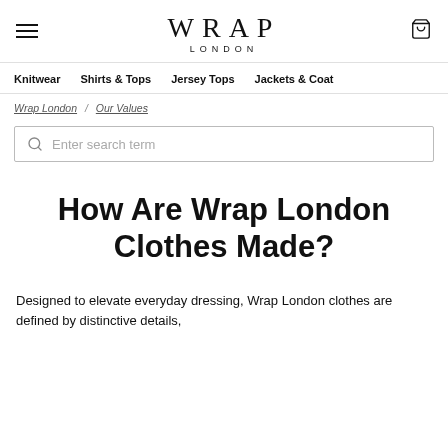WRAP LONDON
Knitwear  Shirts & Tops  Jersey Tops  Jackets & Coat
Wrap London / Our Values
Enter search term
How Are Wrap London Clothes Made?
Designed to elevate everyday dressing, Wrap London clothes are defined by distinctive details,